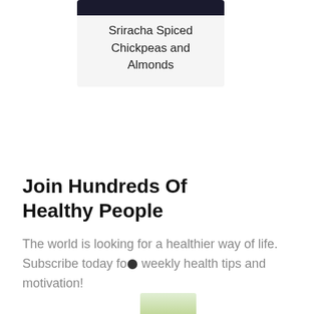[Figure (photo): Top portion of a food photo showing a dark-colored dish, partially cropped at the top of the card]
Sriracha Spiced Chickpeas and Almonds
Join Hundreds Of Healthy People
The world is looking for a healthier way of life. Subscribe today for weekly health tips and motivation!
[Figure (photo): Bottom partial image showing green plant/herb, cropped at bottom edge]